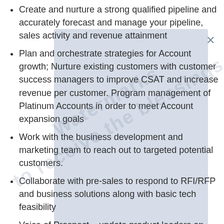Create and nurture a strong qualified pipeline and accurately forecast and manage your pipeline, sales activity and revenue attainment
Plan and orchestrate strategies for Account growth; Nurture existing customers with customer success managers to improve CSAT and increase revenue per customer. Program management of Platinum Accounts in order to meet Account expansion goals
Work with the business development and marketing team to reach out to targeted potential customers.
Collaborate with pre-sales to respond to RFI/RFP and business solutions along with basic tech feasibility
Voice of Prospect – update product leaders on key gaps against client asks and influence